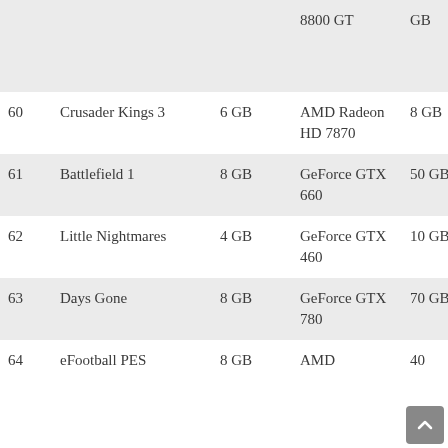| # | Game | RAM | GPU | Storage |
| --- | --- | --- | --- | --- |
|  |  |  | 8800 GT | GB |
| 60 | Crusader Kings 3 | 6 GB | AMD Radeon HD 7870 | 8 GB |
| 61 | Battlefield 1 | 8 GB | GeForce GTX 660 | 50 GB |
| 62 | Little Nightmares | 4 GB | GeForce GTX 460 | 10 GB |
| 63 | Days Gone | 8 GB | GeForce GTX 780 | 70 GB |
| 64 | eFootball PES | 8 GB | AMD | 40 |